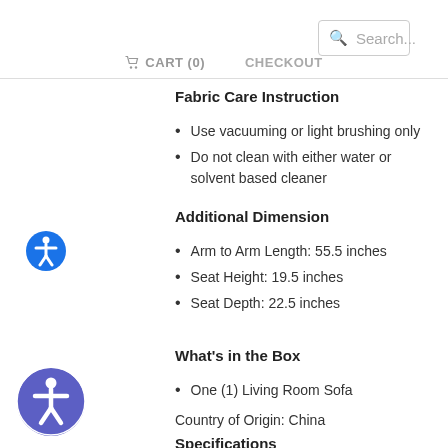Search... | CART (0) | CHECKOUT
Fabric Care Instruction
Use vacuuming or light brushing only
Do not clean with either water or solvent based cleaner
Additional Dimension
Arm to Arm Length: 55.5 inches
Seat Height: 19.5 inches
Seat Depth: 22.5 inches
What's in the Box
One (1) Living Room Sofa
Country of Origin: China
Specifications